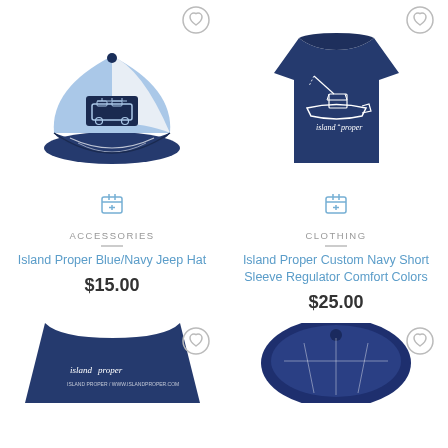[Figure (photo): Island Proper Blue/Navy Jeep Hat - a light blue and navy trucker cap with a dark patch on front showing a jeep outline]
[Figure (photo): Island Proper Custom Navy Short Sleeve Regulator Comfort Colors - a navy t-shirt with white graphic of a boat (regulator) on the back]
ACCESSORIES
Island Proper Blue/Navy Jeep Hat
$15.00
CLOTHING
Island Proper Custom Navy Short Sleeve Regulator Comfort Colors
$25.00
[Figure (photo): Partial view of a navy Island Proper t-shirt with white script logo on back]
[Figure (photo): Partial view of a navy and white hat, top view]